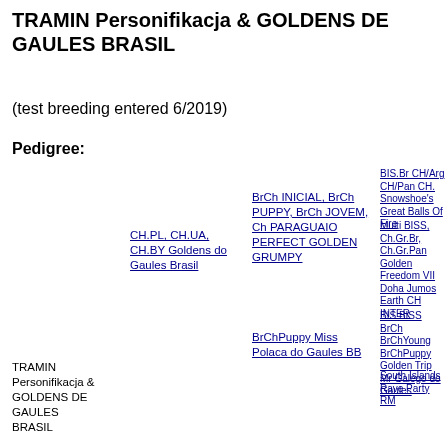TRAMIN Personifikacja & GOLDENS DE GAULES BRASIL
(test breeding entered 6/2019)
Pedigree:
TRAMIN Personifikacja & GOLDENS DE GAULES BRASIL
CH.PL, CH.UA, CH.BY Goldens do Gaules Brasil
BrCh INICIAL, BrCh PUPPY, BrCh JOVEM, Ch PARAGUAIO PERFECT GOLDEN GRUMPY
BIS.Br CH/Arg CH/Pan CH. Snowshoe's Great Balls Of Fire
Multi BISS, Ch.Gr.Br, Ch.Gr.Pan Golden Freedom VII Doha Jumos Earth CH INTER
BrChPuppy Miss Polaca do Gaules BB
BIS BISS BrCh BrChYoung BrChPuppy Golden Trip Mr Galego do Gaules
South Islands Rave Party RM